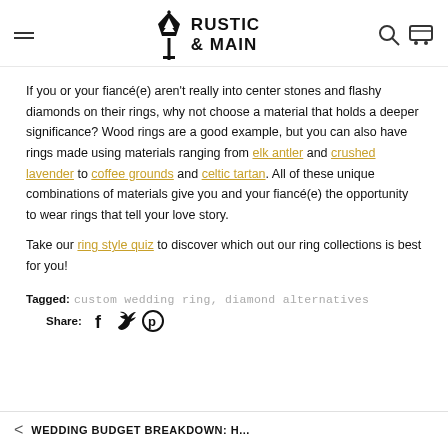RUSTIC & MAIN
If you or your fiancé(e) aren't really into center stones and flashy diamonds on their rings, why not choose a material that holds a deeper significance? Wood rings are a good example, but you can also have rings made using materials ranging from elk antler and crushed lavender to coffee grounds and celtic tartan. All of these unique combinations of materials give you and your fiancé(e) the opportunity to wear rings that tell your love story.
Take our ring style quiz to discover which out our ring collections is best for you!
Tagged: custom wedding ring, diamond alternatives   Share:
< WEDDING BUDGET BREAKDOWN: H...